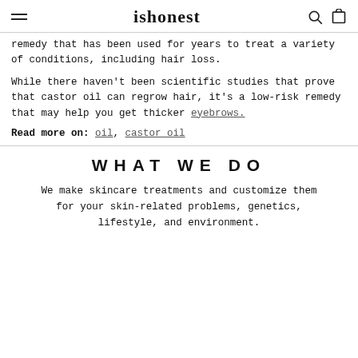ishonest
remedy that has been used for years to treat a variety of conditions, including hair loss.
While there haven't been scientific studies that prove that castor oil can regrow hair, it's a low-risk remedy that may help you get thicker eyebrows.
Read more on: oil, castor oil
WHAT WE DO
We make skincare treatments and customize them for your skin-related problems, genetics, lifestyle, and environment.